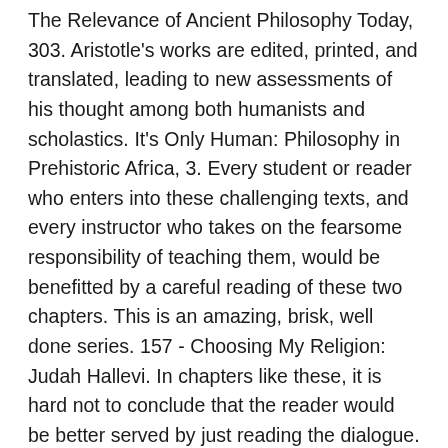The Relevance of Ancient Philosophy Today, 303. Aristotle's works are edited, printed, and translated, leading to new assessments of his thought among both humanists and scholastics. It's Only Human: Philosophy in Prehistoric Africa, 3. Every student or reader who enters into these challenging texts, and every instructor who takes on the fearsome responsibility of teaching them, would be benefitted by a careful reading of these two chapters. This is an amazing, brisk, well done series. 157 - Choosing My Religion: Judah Hallevi. In chapters like these, it is hard not to conclude that the reader would be better served by just reading the dialogue. This website uses cookies to improve your experience while you navigate through the website. By the way I'm a big fan of the author's puns and his easy-to-read style of writing. During this time, we have made some of our learning resources freely accessible. The series looks at the ideas, lives and historical context of the major philosophers as well as … Collectors' Items: Photius and Byzantine Compilations, 307. I wonder if this book adds more content or has less than the